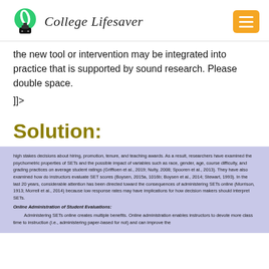[Figure (logo): College Lifesaver logo with green feather/leaf icon and hamburger menu button in orange]
the new tool or intervention may be integrated into practice that is supported by sound research. Please double space.
]]>
Solution:
high stakes decisions about hiring, promotion, tenure, and teaching awards. As a result, researchers have examined the psychometric properties of SETs and the possible impact of variables such as race, gender, age, course difficulty, and grading practices on average student ratings (Griffioen et al., 2019; Nulty, 2008; Spooren et al., 2013). They have also examined how do instructors evaluate SET scores (Boysen, 2015a, 1016b; Boysen et al., 2014; Stewart, 1993). In the last 20 years, considerable attention has been directed toward the consequences of administering SETs online (Morrison, 1913; Morrell et al., 2014) because low response rates may have implications for how decision makers should interpret SETs.
Online Administration of Student Evaluations:
Administering SETs online creates multiple benefits. Online administration enables instructors to devote more class time to instruction (i.e., administering paper-based for not) and can improve the